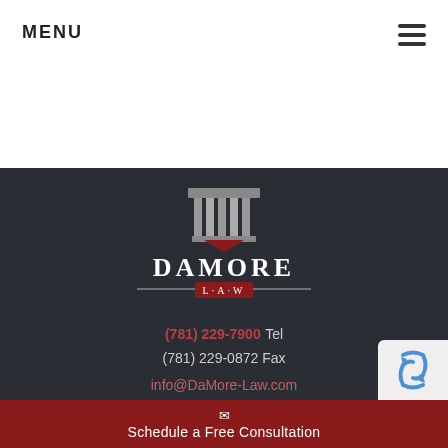MENU
[Figure (logo): DaMore Law logo with courthouse column icon above stylized text DAMORE and L·A·W banner]
(781) 229-7900 Tel
(781) 229-0872 Fax
info@DaMore-Law.com
Schedule a Free Consultation